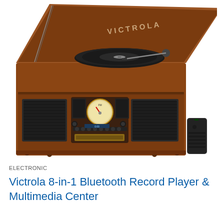[Figure (photo): Victrola 8-in-1 Bluetooth Record Player and Multimedia Center — a vintage-style wooden turntable cabinet with open lid showing the record platter and tonearm. The front panel features two speaker grilles, a round analog FM tuner dial with red needle, control buttons, a CD slot, and a digital display. A black remote control is visible to the right.]
ELECTRONIC
Victrola 8-in-1 Bluetooth Record Player & Multimedia Center